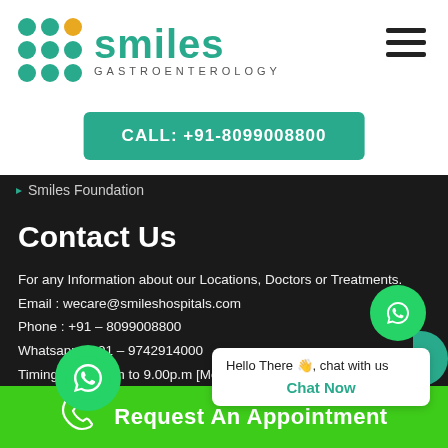[Figure (logo): Smiles Gastroenterology logo with teal and gold dot grid and teal text]
CALL: +91-8099008800
Smiles Foundation
Contact Us
For any Information about our Locations, Doctors or Treatments.
Email : wecare@smileshospitals.com
Phone : +91 – 8099008800
Whatsapp : +91 – 9742914000
Timings : 9.00a.m to 9.00p.m [Mon – Sat]
Website : www.smileshospitals.com
Hello There 👋, chat with us
Chat Now
Request An Appointment